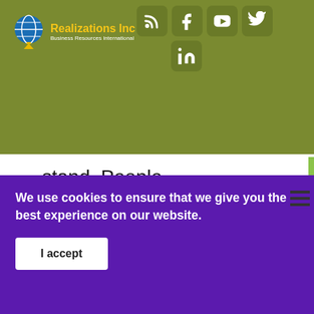[Figure (logo): Realizations Inc logo with globe icon, yellow text 'Realizations Inc' and white subtitle 'Business Resources International']
[Figure (infographic): Social media icons: RSS feed, Facebook, YouTube, Twitter, LinkedIn arranged in header]
stand. People tend to perceive you spent a longer amount of time with them when you sit down, even if it is
We use cookies to ensure that we give you the best experience on our website.
I accept